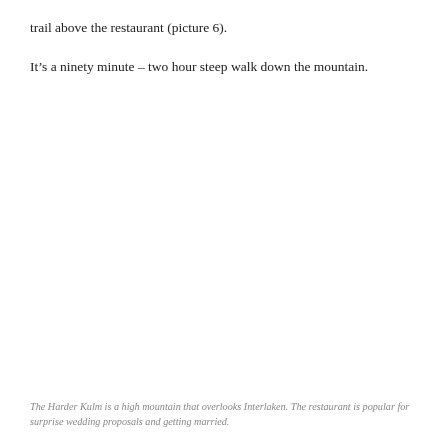trail above the restaurant (picture 6).
It’s a ninety minute – two hour steep walk down the mountain.
The Harder Kulm is a high mountain that overlooks Interlaken. The restaurant is popular for surprise wedding proposals and getting married.